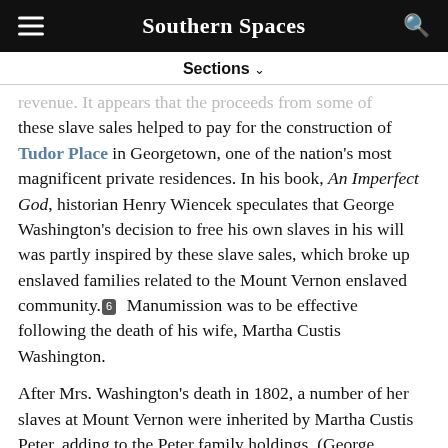Southern Spaces
Sections ∨
revenue. It appears that the proceeds from some of these slave sales helped to pay for the construction of Tudor Place in Georgetown, one of the nation's most magnificent private residences. In his book, An Imperfect God, historian Henry Wiencek speculates that George Washington's decision to free his own slaves in his will was partly inspired by these slave sales, which broke up enslaved families related to the Mount Vernon enslaved community. 6  Manumission was to be effective following the death of his wife, Martha Custis Washington.
After Mrs. Washington's death in 1802, a number of her slaves at Mount Vernon were inherited by Martha Custis Peter, adding to the Peter family holdings. (George Washington's will stipulated that his slaves would be freed upon Martha's death. The will did not